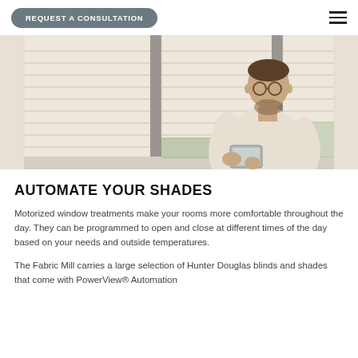REQUEST A CONSULTATION
[Figure (photo): A man with glasses wearing a light beige sweater stands in front of large windows with cream-colored cellular/honeycomb shades, holding a tablet device and looking down at it. The room is bright with natural light.]
AUTOMATE YOUR SHADES
Motorized window treatments make your rooms more comfortable throughout the day. They can be programmed to open and close at different times of the day based on your needs and outside temperatures.
The Fabric Mill carries a large selection of Hunter Douglas blinds and shades that come with PowerView® Automation